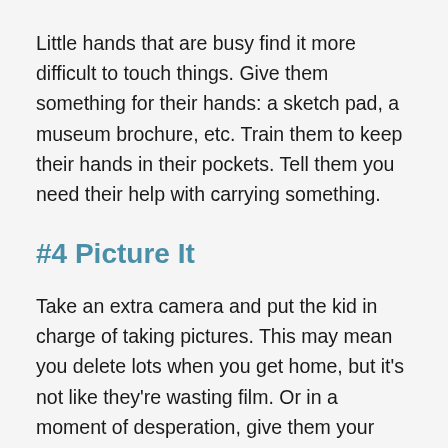Little hands that are busy find it more difficult to touch things. Give them something for their hands: a sketch pad, a museum brochure, etc. Train them to keep their hands in their pockets. Tell them you need their help with carrying something.
#4 Picture It
Take an extra camera and put the kid in charge of taking pictures. This may mean you delete lots when you get home, but it's not like they're wasting film. Or in a moment of desperation, give them your phone. You may even get a picture with you in it to prove you really were there.